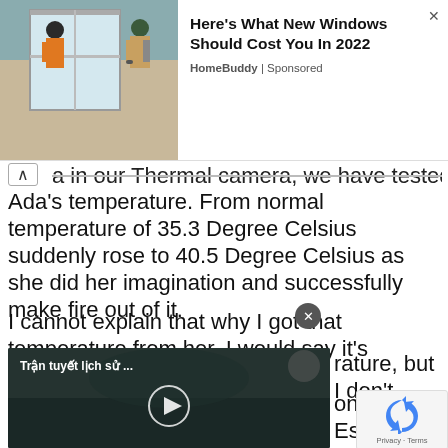[Figure (photo): Advertisement banner: two workers in safety gear installing a window, with text 'Here's What New Windows Should Cost You In 2022' and source 'HomeBuddy | Sponsored']
a in our Thermal camera, we have tested Ada's temperature. From normal temperature of 35.3 Degree Celsius suddenly rose to 40.5 Degree Celsius as she did her imagination and successfully make fire out of it.
I cannot explain that why I got that temperature from her. I would say it's something unusual that [...]rature, but I don't [...] one angle," Espino
[Figure (screenshot): Video player overlay showing a dark video thumbnail with Vietnamese text 'Trận tuyết lịch sử ...' and a play button circle]
[Figure (logo): Google reCAPTCHA privacy badge with recycling-arrow icon and 'Privacy · Terms' text]